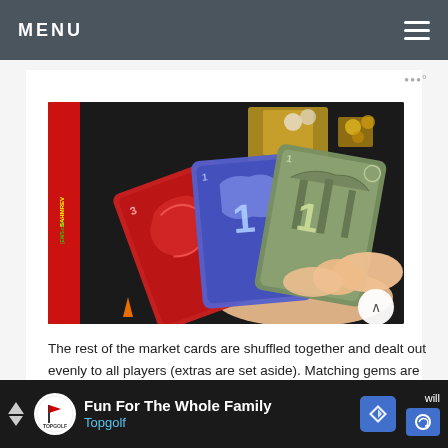MENU
[Figure (photo): A hand holding three illustrated game cards: a red card with a dragon/creature, a purple/blue card with a figure and number 1, and a green card with scenery and number 1. Board game components visible in background on dark gaming mat.]
The rest of the market cards are shuffled together and dealt out evenly to all players (extras are set aside). Matching gems are also set next to each dig site and will vary by
[Figure (infographic): Advertisement banner for Topgolf: Fun For The Whole Family]